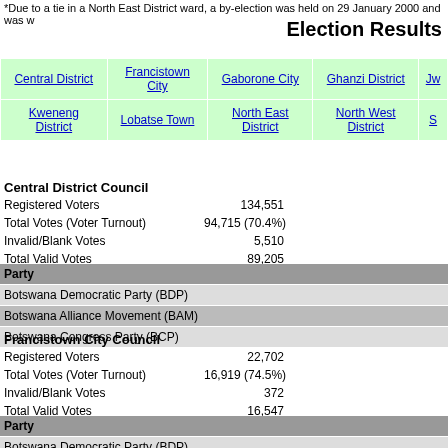*Due to a tie in a North East District ward, a by-election was held on 29 January 2000 and was w
Election Results
| Central District | Francistown City | Gaborone City | Ghanzi District | Jw... |
| --- | --- | --- | --- | --- |
| Kweneng District | Lobatse Town | North East District | North West District | S... |
Central District Council
Registered Voters	134,551
Total Votes (Voter Turnout)	94,715 (70.4%)
Invalid/Blank Votes	5,510
Total Valid Votes	89,205
| Party |
| --- |
| Botswana Democratic Party (BDP) |
| Botswana Alliance Movement (BAM) |
| Botswana Congress Party (BCP) |
Francistown City Council
Registered Voters	22,702
Total Votes (Voter Turnout)	16,919 (74.5%)
Invalid/Blank Votes	372
Total Valid Votes	16,547
| Party |
| --- |
| Botswana Democratic Party (BDP) |
| Botswana Alliance Movement (BAM) |
Gaborone City Council
Registered Voters	38,560
Total Votes (Voter Turnout)	28,469 (75.6%)